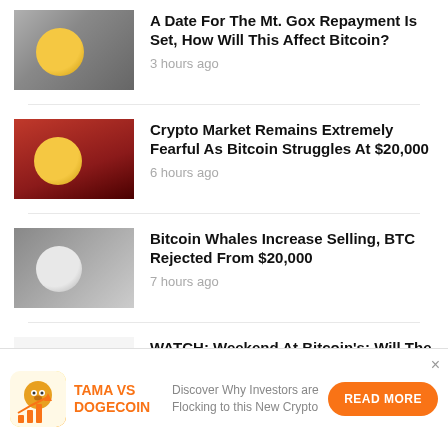A Date For The Mt. Gox Repayment Is Set, How Will This Affect Bitcoin? — 3 hours ago
Crypto Market Remains Extremely Fearful As Bitcoin Struggles At $20,000 — 6 hours ago
Bitcoin Whales Increase Selling, BTC Rejected From $20,000 — 7 hours ago
WATCH: Weekend At Bitcoin's: Will The Dead Crypto Make A Comeback? BTCUSD September 2, 2022
[Figure (infographic): Advertisement banner: Tama vs Dogecoin promo with dog mascot icon and bar chart graphic, orange 'READ MORE' button. Text: Discover Why Investors are Flocking to this New Crypto]